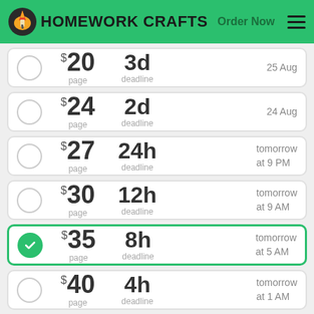HOMEWORK CRAFTS | Order Now
$20 per page | 3d deadline | 25 Aug
$24 per page | 2d deadline | 24 Aug
$27 per page | 24h deadline | tomorrow at 9 PM
$30 per page | 12h deadline | tomorrow at 9 AM
$35 per page | 8h deadline | tomorrow at 5 AM (selected)
$40 per page | 4h deadline | tomorrow at 1 AM